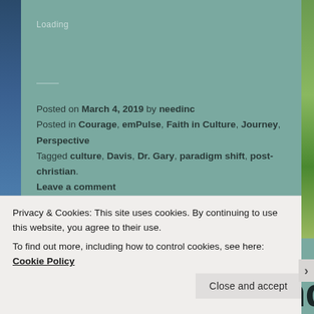Loading
Posted on March 4, 2019 by needinc
Posted in Courage, emPulse, Faith in Culture, Journey, Perspective
Tagged culture, Davis, Dr. Gary, paradigm shift, post-christian.
Leave a comment
paradigm blending
Privacy & Cookies: This site uses cookies. By continuing to use this website, you agree to their use.
To find out more, including how to control cookies, see here: Cookie Policy
Close and accept